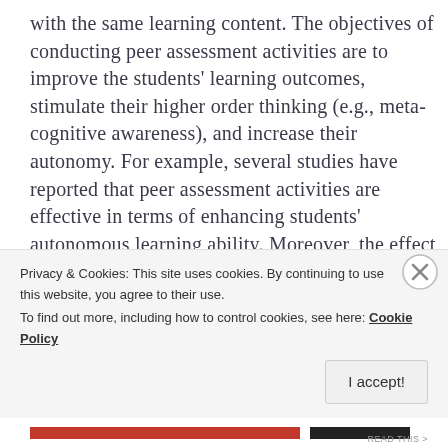with the same learning content. The objectives of conducting peer assessment activities are to improve the students' learning outcomes, stimulate their higher order thinking (e.g., meta-cognitive awareness), and increase their autonomy. For example, several studies have reported that peer assessment activities are effective in terms of enhancing students' autonomous learning ability. Moreover, the effect of engaging students in the role of a reviewer on their reflections has been pointed out. On the other hand, the benefit of receiving feedback from peers in improving students' learning outcomes has also been reported. For instance, Nicolaidou (2013) found that students' feedback
Privacy & Cookies: This site uses cookies. By continuing to use this website, you agree to their use.
To find out more, including how to control cookies, see here: Cookie Policy
I accept!